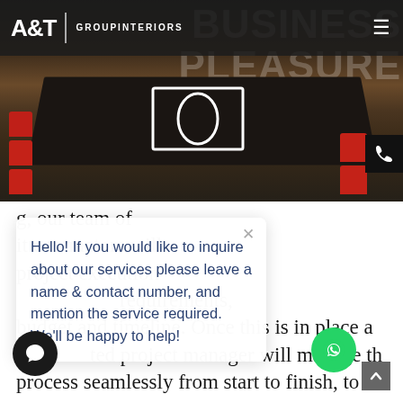[Figure (screenshot): A&T Group Interiors website screenshot showing header with logo, hero image of conference room with dark table and red chairs, a chat popup overlay, and body text about interior fit-out services.]
A&T GROUP INTERIORS
Hello! If you would like to inquire about our services please leave a name & contact number, and mention the service required. We'll be happy to help!
g, our team of it contractors will project execution requirements, budget and timeline. Once this is in place a ted project manager will manage th process seamlessly from start to finish, to